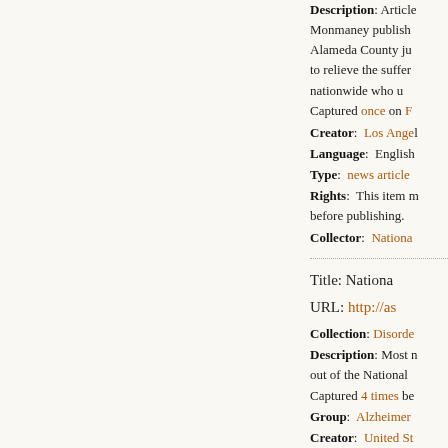Description: Article by Monmaney published in Alameda County ju... to relieve the suffer... nationwide who u... Captured once on F...
Creator: Los Ange...
Language: English...
Type: news article...
Rights: This item m... before publishing.
Collector: Nationa...
Title: Nationa...
URL: http://as...
Collection: Disorde...
Description: Most n... out of the National... Captured 4 times be...
Group: Alzheimer...
Creator: United St...
Language: English...
Format: Report
Collector: Nationa...